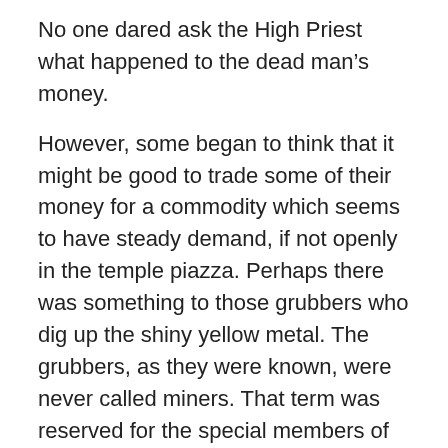No one dared ask the High Priest what happened to the dead man’s money.
However, some began to think that it might be good to trade some of their money for a commodity which seems to have steady demand, if not openly in the temple piazza. Perhaps there was something to those grubbers who dig up the shiny yellow metal. The grubbers, as they were known, were never called miners. That term was reserved for the special members of the clergy with the privilege to chisel marks into the monetary ledger. It was an extension of the name originally given to those who quarried the stone, which even at the beginning was considered sacred.
Then one year, a major temple donor got into a